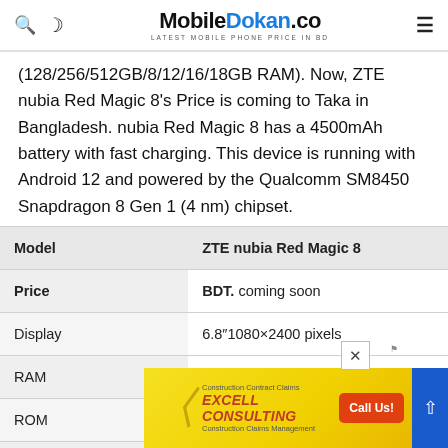MobileDokan.co — Latest Mobile Phone Price in BD
(128/256/512GB/8/12/16/18GB RAM). Now, ZTE nubia Red Magic 8's Price is coming to Taka in Bangladesh. nubia Red Magic 8 has a 4500mAh battery with fast charging. This device is running with Android 12 and powered by the Qualcomm SM8450 Snapdragon 8 Gen 1 (4 nm) chipset.
| Model | ZTE nubia Red Magic 8 |
| --- | --- |
| Price | BDT. coming soon |
| Display | 6.8"1080×2400 pixels |
| RAM | 8/12/16/18 GB |
| ROM | 128/256/512 GB |
| Release |  |